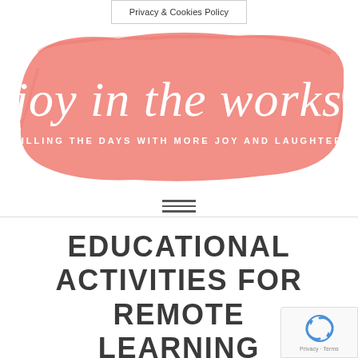Privacy & Cookies Policy
[Figure (logo): Joy in the Works blog logo — coral/salmon brush stroke background with white script text 'joy in the works' and smaller text 'FILLING THE DAYS WITH MORE JOY AND LAUGHTER']
EDUCATIONAL ACTIVITIES FOR REMOTE LEARNING